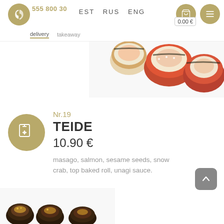EST RUS ENG | 555 800 30 | delivery takeaway | 0.00 €
[Figure (photo): Sushi rolls with salmon and rice in top-right corner of page header]
Nr.19
TEIDE
10.90 €
masago, salmon, sesame seeds, snow crab, top baked roll, unagi sauce.
[Figure (photo): Bottom sushi rolls partially visible at the bottom of the page]